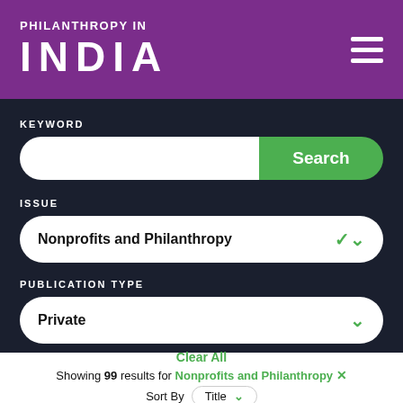PHILANTHROPY IN INDIA
KEYWORD
Search
ISSUE
Nonprofits and Philanthropy
PUBLICATION TYPE
Private
Clear All
Showing 99 results for Nonprofits and Philanthropy ✕
Sort By Title